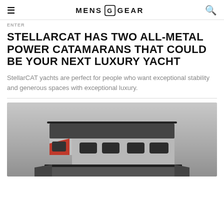MENS GEAR
ENTER
STELLARCAT HAS TWO ALL-METAL POWER CATAMARANS THAT COULD BE YOUR NEXT LUXURY YACHT
StellarCAT yachts are perfect for people who want exceptional stability and generous spaces with exceptional luxury.
[Figure (photo): Photo of a StellarCAT all-metal power catamaran yacht, showing the hull and superstructure in gray with red accent panels, viewed from the side against a gray gradient background.]